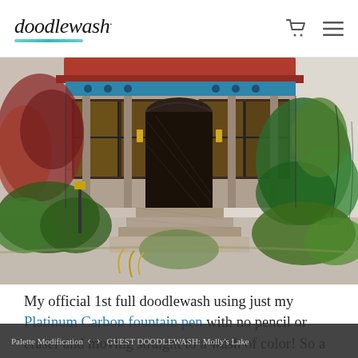doodlewash.
[Figure (illustration): Watercolor and ink illustration of a Victorian-style house entrance with stone steps, ornate porch columns, a dark door, surrounding lush green and red foliage, warm lantern lights, and a red roof, rendered in pen and watercolor wash style.]
My official 1st full doodlewash using just my Platinum Carbon fountain pen with no pencil or eraser and moving straight to a wash of color! So a small little victory there. Still struggling a bit with how to color
Palette Modification  < >  GUEST DOODLEWASH: Molly's Lake